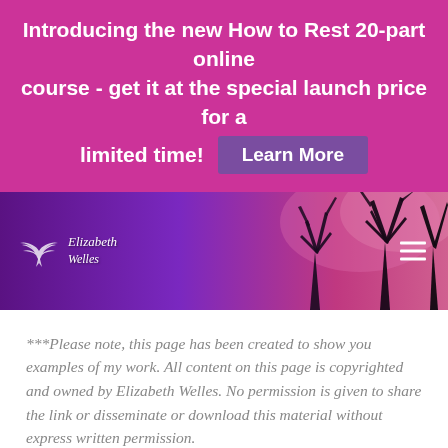Introducing the new How to Rest 20-part online course - get it at the special launch price for a limited time! Learn More
[Figure (illustration): Website header banner with purple-to-pink gradient background showing dark tree silhouettes. Elizabeth Welles logo with dove/bird icon on the left, hamburger menu icon on the right.]
***Please note, this page has been created to show you examples of my work. All content on this page is copyrighted and owned by Elizabeth Welles. No permission is given to share the link or disseminate or download this material without express written permission.